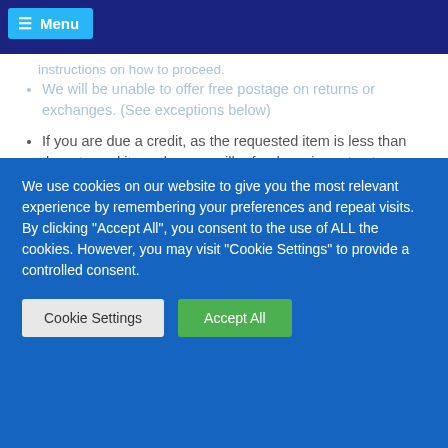Menu
instructions on how to proceed.
We will be unable to offer free postage on returns or exchanges. (See exceptions below)
If you are due a credit, as the requested item is less than the returned item, then we will refund you in part onto your original payment method.
If you need to pay extra to cover the difference, then we will invoice you the difference before we send out the requested goods.
If you buy more than £50 in exchanged goods, then
We use cookies on our website to give you the most relevant experience by remembering your preferences and repeat visits. By clicking "Accept All", you consent to the use of ALL the cookies. However, you may visit "Cookie Settings" to provide a controlled consent.